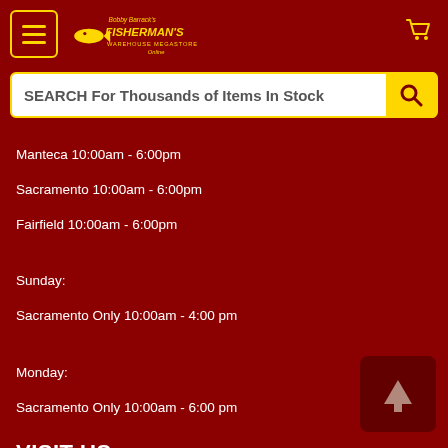Bobby Barrack's Fisherman's Warehouse Megastore Online - menu and cart header
SEARCH For Thousands of Items In Stock
Manteca 10:00am - 6:00pm
Sacramento 10:00am - 6:00pm
Fairfield 10:00am - 6:00pm
Sunday:
Sacramento Only 10:00am - 4:00 pm
Monday:
Sacramento Only 10:00am - 6:00 pm
VISIT US
Manteca
2201 E. Yosemite Ave.
Manteca, CA, 95336
209-239-2248
Sacramento
9035 Folsom Blvd.